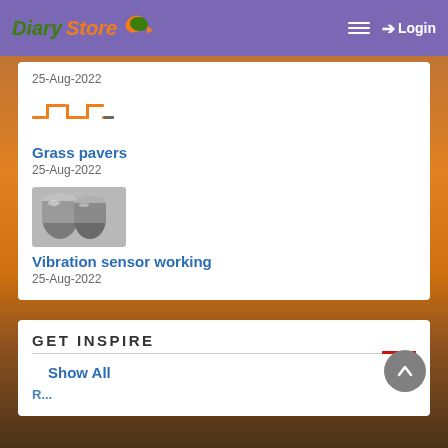Diary Store — Login
25-Aug-2022
[Figure (logo): Orange square-wave / digital icon in orange]
Grass pavers
25-Aug-2022
[Figure (photo): Two cylindrical metallic vibration sensor devices]
Vibration sensor working
25-Aug-2022
GET INSPIRE
Show All
R...